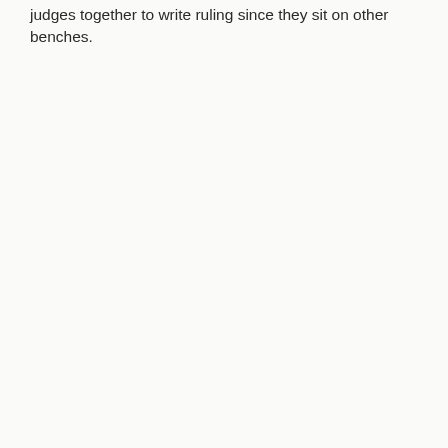judges together to write ruling since they sit on other benches.